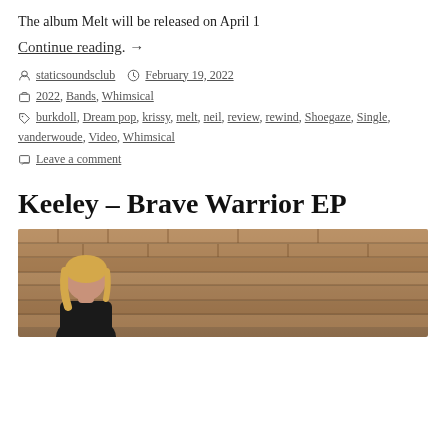The album Melt will be released on April 1
Continue reading. →
By staticsoundsclub   February 19, 2022
2022, Bands, Whimsical
burkdoll, Dream pop, krissy, melt, neil, review, rewind, Shoegaze, Single, vanderwoude, Video, Whimsical
Leave a comment
Keeley – Brave Warrior EP
[Figure (photo): Photo of a woman with blonde hair in a black jacket standing in front of a stone/brick wall]